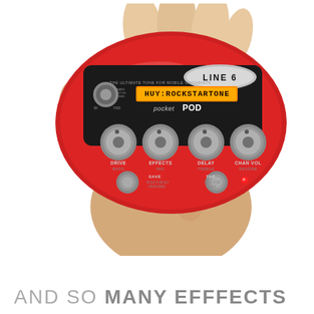[Figure (photo): A hand gripping a red Line 6 Pocket POD guitar effects unit. The device is red and oval-shaped with a black face panel showing 'LINE 6' logo, an orange LCD display reading 'HUY:ROCKSTARTONE', text 'THE ULTIMATE TONE FOR MOBILE GUITARISTS', 'pocket POD' branding, and several silver knobs labeled DRIVE/BASS, EFFECTS/MID, DELAY/TREBLE, CHAN VOL/REVERB, plus SAVE and TAP buttons.]
AND SO MANY EFFFECTS